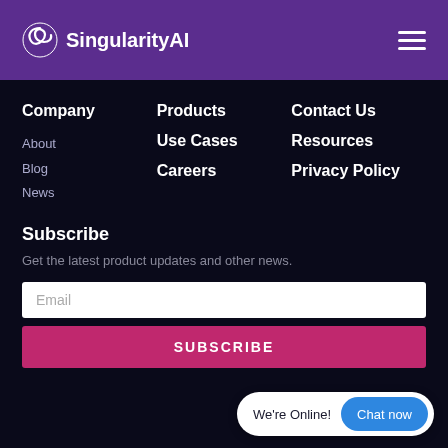[Figure (logo): SingularityAI logo with stylized S icon and text 'SingularityAI' in white on purple header]
Company
About
Blog
News
Products
Use Cases
Careers
Contact Us
Resources
Privacy Policy
Subscribe
Get the latest product updates and other news.
Email
SUBSCRIBE
We're Online!  Chat now